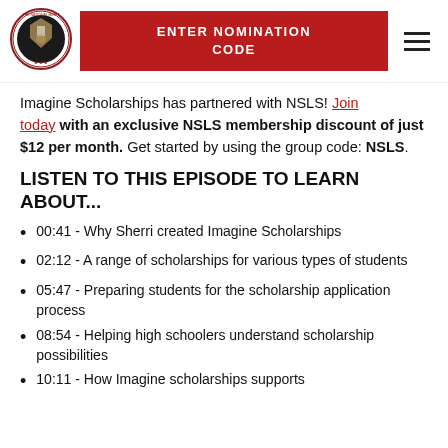[Figure (logo): NSLS circular logo with crest and text around the border]
[Figure (screenshot): Red button labeled ENTER NOMINATION CODE]
[Figure (other): Hamburger menu icon (three horizontal lines)]
Imagine Scholarships has partnered with NSLS! Join today with an exclusive NSLS membership discount of just $12 per month. Get started by using the group code: NSLS.
LISTEN TO THIS EPISODE TO LEARN ABOUT...
00:41 - Why Sherri created Imagine Scholarships
02:12 - A range of scholarships for various types of students
05:47 - Preparing students for the scholarship application process
08:54 - Helping high schoolers understand scholarship possibilities
10:11 - How Imagine scholarships supports